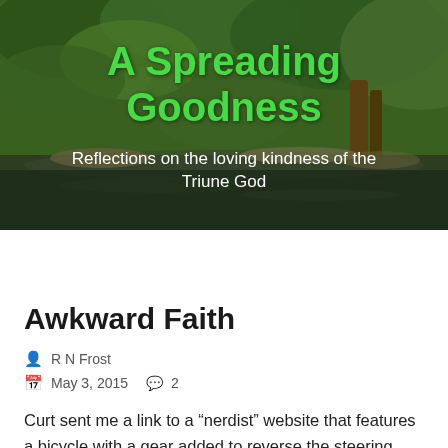[Figure (photo): Header banner image showing a river or stream with lush green trees and vegetation. Green bold text reads 'A Spreading Goodness' and white subtitle reads 'Reflections on the loving kindness of the Triune God']
A Spreading Goodness
Reflections on the loving kindness of the Triune God
Awkward Faith
R N Frost
May 3, 2015    2
Curt sent me a link to a “nerdist” website that features a bicycle with a gear added to reverse the steering. When a rider turns right the front wheel turns left, and vice versa. So every